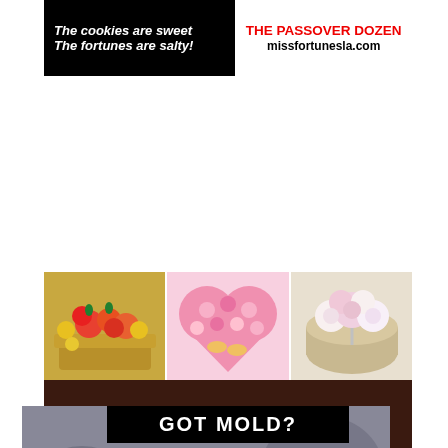[Figure (illustration): Miss Fortunes cookie advertisement: black background left side with white bold italic text 'The cookies are sweet / The fortunes are salty!', right side white background with red bold text 'THE PASSOVER DOZEN' and black text 'missfortunesla.com']
[Figure (illustration): Unique Gourmet Gifts advertisement: top half shows three gift box photos (fruit box, pink heart-shaped macarons, floral box), bottom half dark brown background with yellow script text 'Unique Gourmet Gifts', phone number '(818) 456 0137', and website 'GourmetGift4u.com']
[Figure (illustration): Got Mold? advertisement: black header with white text 'GOT MOLD?', gray background with text about nose and throat irritation, headaches, fatigue, orange border rectangle, pink WhatsApp button, 'Need help? Click here.' chat bubble, orange 'Call Now' button with phone number '310-971-6723' in dark blue]